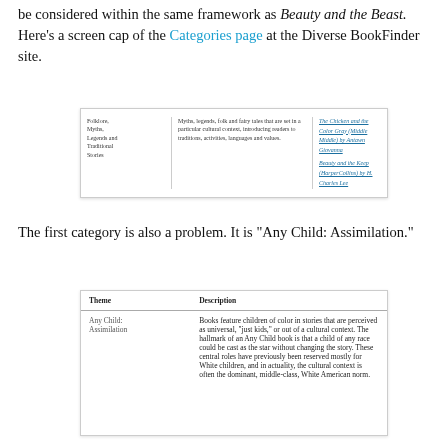be considered within the same framework as Beauty and the Beast. Here's a screen cap of the Categories page at the Diverse BookFinder site.
[Figure (screenshot): Screenshot of the Diverse BookFinder Categories page showing a table row with columns: 'Folklore, Myths, Legends and Traditional Stories', a description about myths legends folk and fairy tales, and example book titles in blue italic text.]
The first category is also a problem. It is "Any Child: Assimilation."
| Theme | Description |
| --- | --- |
| Any Child: Assimilation | Books feature children of color in stories that are perceived as universal, "just kids," or out of a cultural context. The hallmark of an Any Child book is that a child of any race could be cast as the star without changing the story. These central roles have previously been reserved mostly for White children, and in actuality, the cultural context is often the dominant, middle-class, White American norm. |